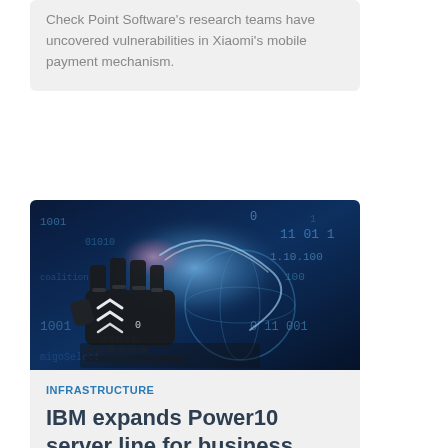Check Point Software's research teams have uncovered vulnerabilities in Xiaomi's mobile payment mechanism.
[Figure (photo): A robotic hand typing on a keyboard with blue digital binary code overlaid, representing cybersecurity and digital infrastructure themes.]
INFRASTRUCTURE
IBM expands Power10 server line for business modernisation
IBM has recently announced a significant expansion of its Power10